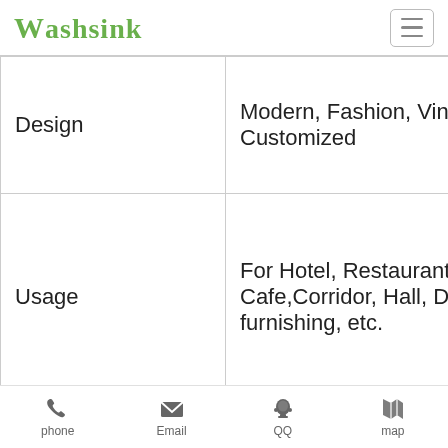Washsink
|  |  |
| --- | --- |
| Design | Modern, Fashion, Vint... Customized |
| Usage | For Hotel, Restaurant, Cafe, Corridor, Hall, Di... furnishing, etc. |
| Place of origin | Jingdezhen, China |
phone  Email  QQ  map